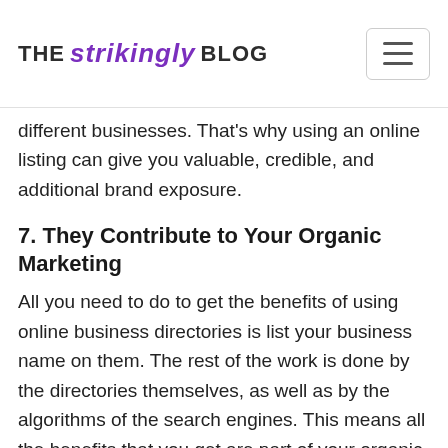THE strikingly BLOG
different businesses. That's why using an online listing can give you valuable, credible, and additional brand exposure.
7. They Contribute to Your Organic Marketing
All you need to do to get the benefits of using online business directories is list your business name on them. The rest of the work is done by the directories themselves, as well as by the algorithms of the search engines. This means all the benefits that you get are part of your organic